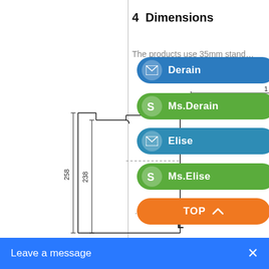4  Dimensions
The products use 35mm stand…
[Figure (engineering-diagram): Technical dimension drawing showing a product profile with measurements: width dimensions at top (partially visible, labeled 1 and 1), inner width labeled 5, and vertical height dimensions of 258 and 238 on the left side. The diagram shows a cross-sectional outline of a DIN rail mounted device.]
Derain
Ms.Derain
Elise
Ms.Elise
TOP
Leave a message